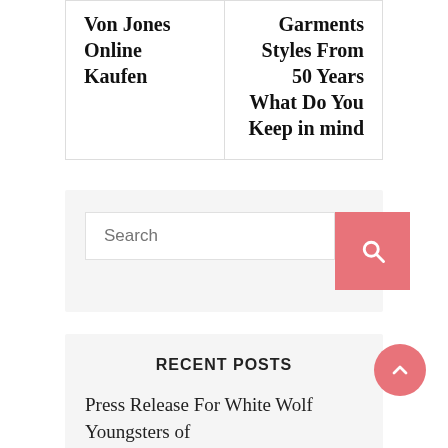Von Jones Online Kaufen
Garments Styles From 50 Years What Do You Keep in mind
[Figure (other): Search input box with pink search button containing a magnifying glass icon]
RECENT POSTS
Press Release For White Wolf Youngsters of The Crystal 2nd Edition
[Figure (other): Pink circular back-to-top button with upward chevron arrow]